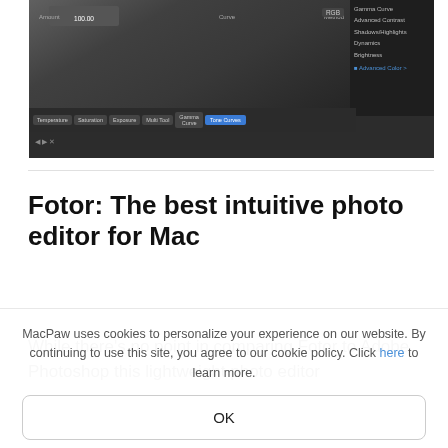[Figure (screenshot): Screenshot of Fotor photo editor interface showing a dark-themed UI with tone curve tools, toolbar tabs including Temperature, Saturation, Exposure, Multi Tool, Gamma Curve, Tone Curves, and a right sidebar with Advanced Contrast, Shadows/Highlights, Dynamics, Brightness, Advanced Color options. The editing area shows a photo of people.]
Fotor: The best intuitive photo editor for Mac
While there's no point in comparing Fotor to Adobe Photoshop this lightweight photo editor
MacPaw uses cookies to personalize your experience on our website. By continuing to use this site, you agree to our cookie policy. Click here to learn more.
OK